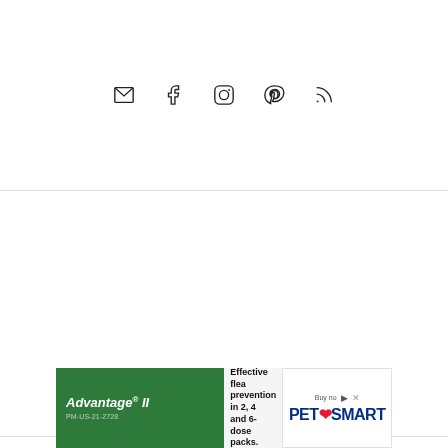[Figure (other): Social media icons row: email envelope, Facebook f, Instagram camera, Pinterest P, RSS feed]
COPYRIGHT © 2022 - DAZZLING THEME THEME BY RESTORED 316
AN ELITE CAFEMEDIA HOME/DIY PUBLISHER
[Figure (other): Advertisement banner: Advantage II flea prevention ad on left (green background), PetSmart Buy now ad on right]